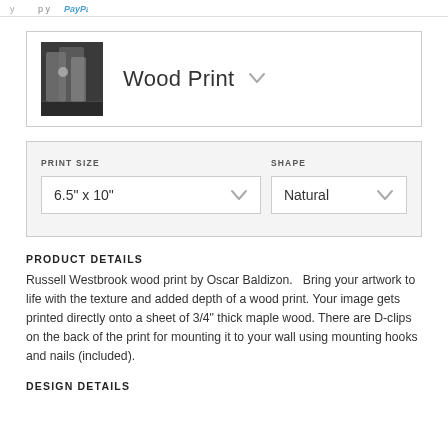Wood Print
PRINT SIZE: 6.5" x 10" | SHAPE: Natural
PRODUCT DETAILS
Russell Westbrook wood print by Oscar Baldizon.   Bring your artwork to life with the texture and added depth of a wood print. Your image gets printed directly onto a sheet of 3/4" thick maple wood. There are D-clips on the back of the print for mounting it to your wall using mounting hooks and nails (included).
DESIGN DETAILS